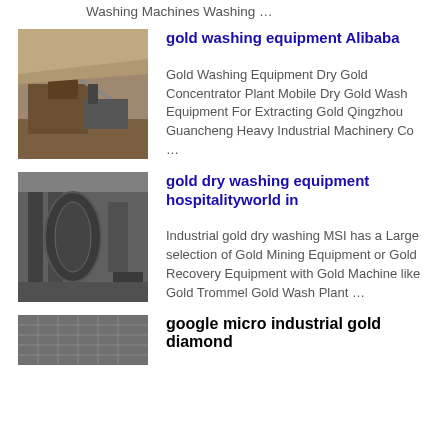Washing Machines Washing …
gold washing equipment Alibaba
Gold Washing Equipment Dry Gold Concentrator Plant Mobile Dry Gold Wash Equipment For Extracting Gold Qingzhou Guancheng Heavy Industrial Machinery Co …
[Figure (photo): Photo of gold washing equipment at an open-pit mining site with machinery and piles of earth]
gold dry washing equipment hospitalityworld in
Industrial gold dry washing MSI has a Large selection of Gold Mining Equipment or Gold Recovery Equipment with Gold Machine like Gold Trommel Gold Wash Plant …
[Figure (photo): Photo of industrial machinery inside a large warehouse or factory building]
google micro industrial gold diamond